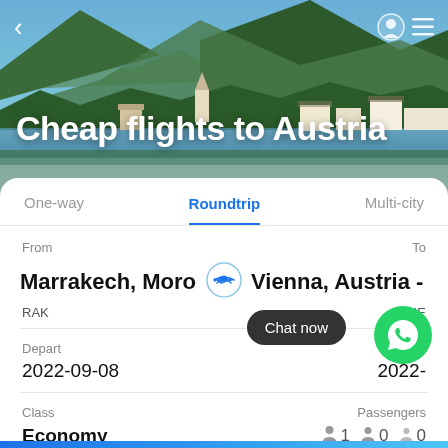[Figure (photo): Scenic hero image of Austrian alpine town (Hallstatt) with mountains, lake, church steeple and colorful buildings in background]
Cheap flights to Austria
One-way   Roundtrip   Multi-city
From   To
Marrakech, Morocc... → Vienna, Austria - Vi...
RAK   VIE
Depart   Return
2022-09-08   2022-
Chat now
Class   Passengers
Economy   1   0   0